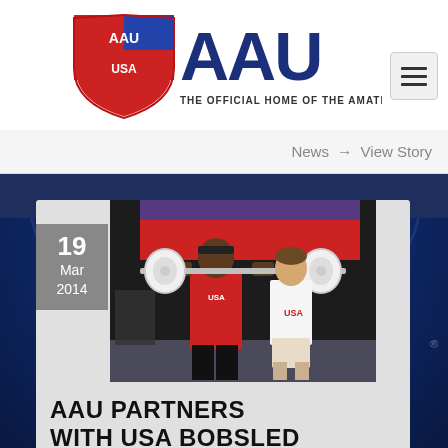[Figure (logo): AAU logo - Amateur Athletic Union shield logo and wordmark with text THE OFFICIAL HOME OF THE AMATEUR ATHLETIC UNION]
[Figure (screenshot): Navigation hamburger menu button with three horizontal lines]
News → View Story
[Figure (photo): Female weightlifter in red USA uniform performing a lift with a barbell, assisted by a male coach in white shirt and khaki shorts, at an indoor athletic event]
19
Mar
2014
AAU PARTNERS WITH USA BOBSLED